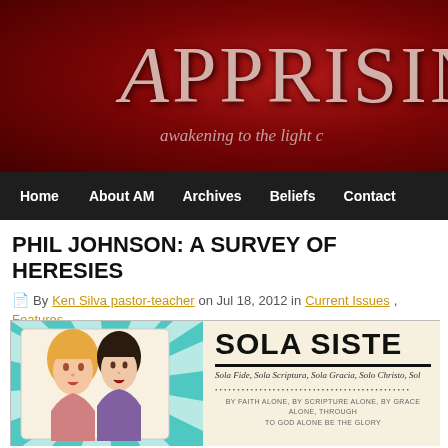APPRISING — awakening to the light c[hrist]
Home | About AM | Archives | Beliefs | Contact
PHIL JOHNSON: A SURVEY OF HERESIES
By Ken Silva pastor-teacher on Jul 18, 2012 in Current Issues, Features
[Figure (illustration): Sola Sisters blog header image showing two illustrated women in vintage 1920s style on a teal sunburst background, with the text 'SOLA SISTERS' in bold uppercase, followed by italic Latin text 'Sola Fide, Sola Scriptura, Sola Gracia, Solo Christo, Sol[a Gloria]' and a row of decorative dots, and small text 'BY FAITH ALONE, BY SCRIPTURE ALONE, BY GRACE ALONE, THROUGH [CHRIST ALONE,] TO GOD ALONE BE THE GLORY']